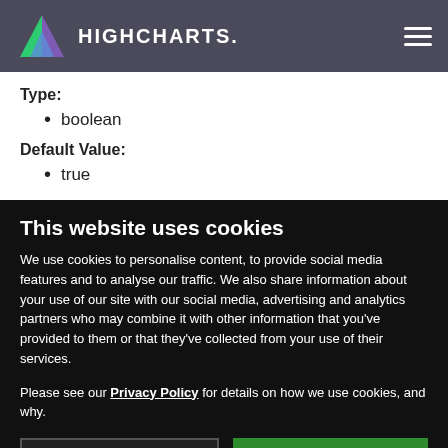HIGHCHARTS.
Type:
boolean
Default Value:
true
This website uses cookies
We use cookies to personalise content, to provide social media features and to analyse our traffic. We also share information about your use of our site with our social media, advertising and analytics partners who may combine it with other information that you've provided to them or that they've collected from your use of their services.
Please see our Privacy Policy for details on how we use cookies, and why.
Use necessary cookies only
Allow all cookies
Show details